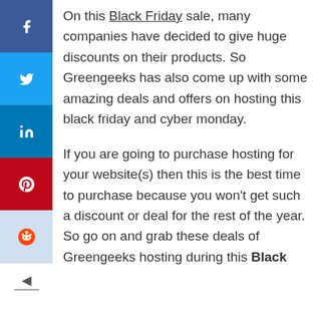[Figure (other): Vertical social sharing sidebar with Facebook (blue), Twitter (light blue), LinkedIn (dark blue), Pinterest (red), Reddit (light blue with alien icon) buttons, and a collapse arrow below]
On this Black Friday sale, many companies have decided to give huge discounts on their products. So Greengeeks has also come up with some amazing deals and offers on hosting this black friday and cyber monday.
If you are going to purchase hosting for your website(s) then this is the best time to purchase because you won't get such a discount or deal for the rest of the year. So go on and grab these deals of Greengeeks hosting during this Black